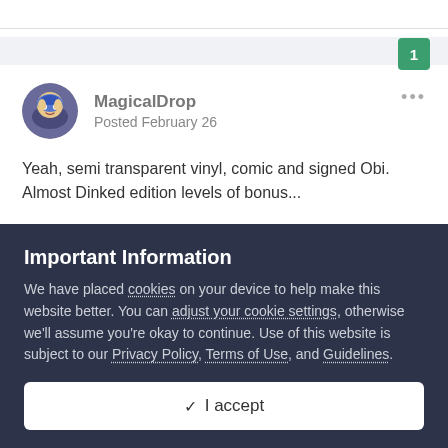1
[Figure (illustration): User avatar for MagicalDrop — circular avatar showing a stylized cartoon character]
MagicalDrop
Posted February 26
Yeah, semi transparent vinyl, comic and signed Obi. Almost Dinked edition levels of bonus...
Important Information
We have placed cookies on your device to help make this website better. You can adjust your cookie settings, otherwise we'll assume you're okay to continue. Use of this website is subject to our Privacy Policy, Terms of Use, and Guidelines.
✓  I accept